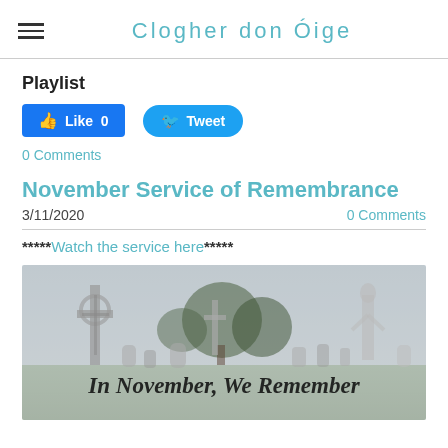Clogher don Óige
Playlist
Like 0    Tweet
0 Comments
November Service of Remembrance
3/11/2020    0 Comments
*****Watch the service here*****
[Figure (photo): Cemetery photo with gravestones, crosses, statues and trees in the background. Overlaid cursive text reads: In November, We Remember]